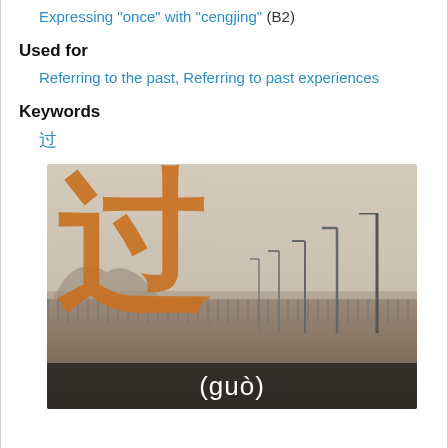Expressing "once" with "cengjing" (B2)
Used for
Referring to the past, Referring to past experiences
Keywords
过
[Figure (illustration): Chinese character 过 (guò) in orange brush-stroke style overlaid on a sepia-toned photo of a bridge with street lamps. The pinyin '(guò)' appears in white text on a dark bar at the bottom.]